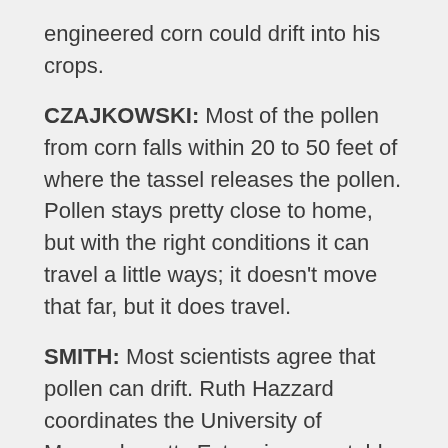engineered corn could drift into his crops.
CZAJKOWSKI: Most of the pollen from corn falls within 20 to 50 feet of where the tassel releases the pollen. Pollen stays pretty close to home, but with the right conditions it can travel a little ways; it doesn't move that far, but it does travel.
SMITH: Most scientists agree that pollen can drift. Ruth Hazzard coordinates the University of Massachusetts Extension vegetable program.
HAZZARD: It's usually viable about 24 hours, but with higher humidity and cooler temperatures it could remain viable longer, with prevailing winds, it could move farther.
SMITH: Hazzard cites a University of Maine study that looked at the potential for pollen to drift from a genetically modified cornfield to a field of conventional corn.